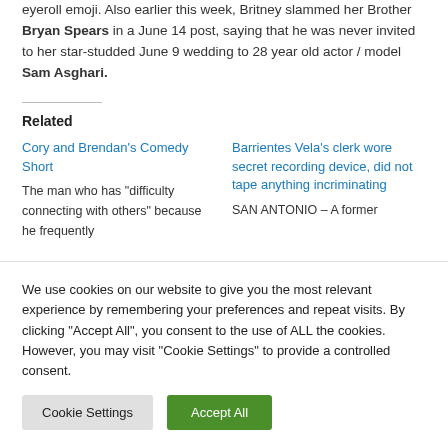eyeroll emoji. Also earlier this week, Britney slammed her Brother Bryan Spears in a June 14 post, saying that he was never invited to her star-studded June 9 wedding to 28 year old actor / model Sam Asghari.
Related
Cory and Brendan's Comedy Short
The man who has "difficulty connecting with others" because he frequently
Barrientes Vela's clerk wore secret recording device, did not tape anything incriminating
SAN ANTONIO – A former
We use cookies on our website to give you the most relevant experience by remembering your preferences and repeat visits. By clicking "Accept All", you consent to the use of ALL the cookies. However, you may visit "Cookie Settings" to provide a controlled consent.